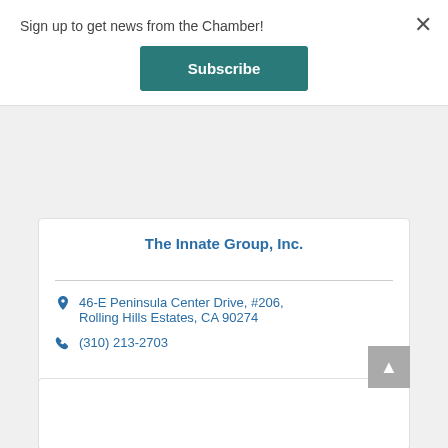Sign up to get news from the Chamber!
Subscribe
The Innate Group, Inc.
46-E Peninsula Center Drive, #206, Rolling Hills Estates, CA 90274
(310) 213-2703